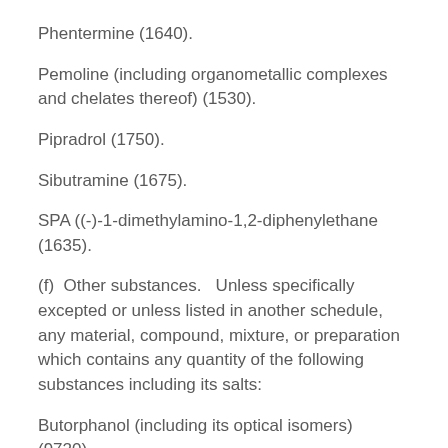Phentermine (1640).
Pemoline (including organometallic complexes and chelates thereof) (1530).
Pipradrol (1750).
Sibutramine (1675).
SPA ((-)-1-dimethylamino-1,2-diphenylethane (1635).
(f)  Other substances.   Unless specifically excepted or unless listed in another schedule, any material, compound, mixture, or preparation which contains any quantity of the following substances including its salts:
Butorphanol (including its optical isomers) (9720).
Pentazocine (9709).